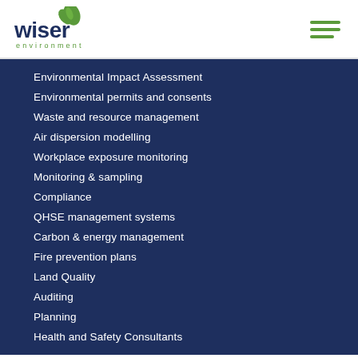[Figure (logo): Wiser Environment logo — green leaf above the word 'wiser' in dark blue, with 'environment' in green below]
Environmental Impact Assessment
Environmental permits and consents
Waste and resource management
Air dispersion modelling
Workplace exposure monitoring
Monitoring & sampling
Compliance
QHSE management systems
Carbon & energy management
Fire prevention plans
Land Quality
Auditing
Planning
Health and Safety Consultants